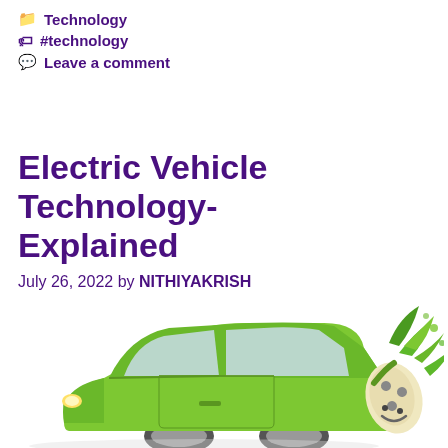Technology
#technology
Leave a comment
Electric Vehicle Technology-Explained
July 26, 2022 by NITHIYAKRISH
[Figure (illustration): Green electric car cartoon illustration with a charging plug featuring green leaves coming out of it, symbolizing eco-friendly technology]